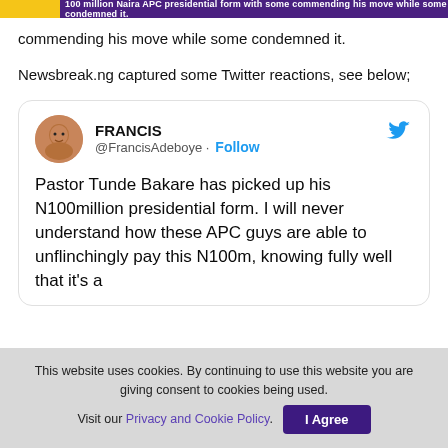100 million Naira APC presidential form with some commending his move while some condemned it.
commending his move while some condemned it.
Newsbreak.ng captured some Twitter reactions, see below;
[Figure (screenshot): Tweet from @FrancisAdeboye (FRANCIS) with a Follow button and Twitter bird logo. Tweet text: Pastor Tunde Bakare has picked up his N100million presidential form. I will never understand how these APC guys are able to unflinchingly pay this N100m, knowing fully well that it’s a [continues below fold]]
This website uses cookies. By continuing to use this website you are giving consent to cookies being used. Visit our Privacy and Cookie Policy. I Agree